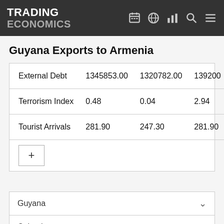TRADING ECONOMICS
Guyana Exports to Armenia
| External Debt | 1345853.00 | 1320782.00 | 139200 |
| Terrorism Index | 0.48 | 0.04 | 2.94 |
| Tourist Arrivals | 281.90 | 247.30 | 281.90 |
Guyana
Calendar
Forecast
Indicators